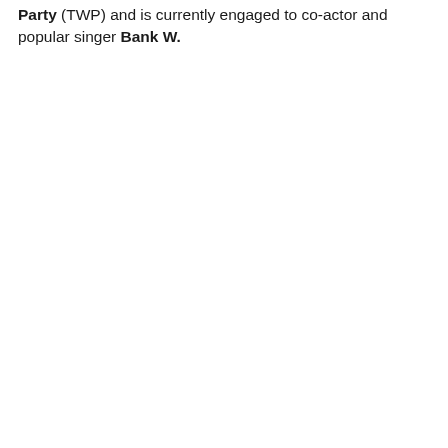Party (TWP) and is currently engaged to co-actor and popular singer Bank W.